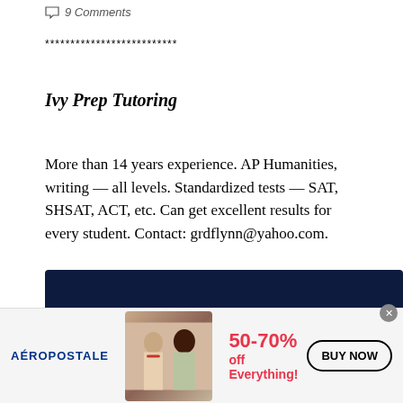9 Comments
**************************
Ivy Prep Tutoring
More than 14 years experience. AP Humanities, writing — all levels. Standardized tests — SAT, SHSAT, ACT, etc. Can get excellent results for every student. Contact: grdflynn@yahoo.com.
**************************
[Figure (infographic): Aéropostale advertisement banner showing two female models, text '50-70% off Everything!' in red, and a 'BUY NOW' button]